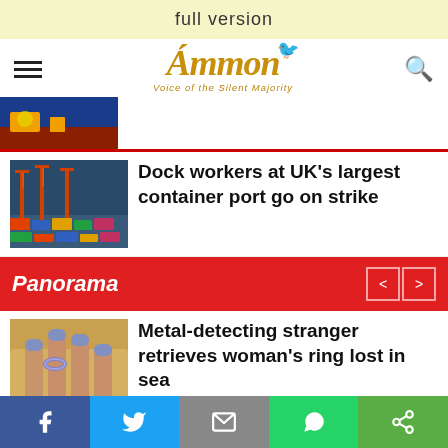full version
[Figure (logo): Ammon News logo with tagline 'Voice of the Silent Majority' and bird illustration]
[Figure (photo): Partial blue and red image from a previous news article]
Dock workers at UK's largest container port go on strike
Panorama
Metal-detecting stranger retrieves woman’s ring lost in sea
Social share bar: Facebook, Twitter, Email, WhatsApp, Share